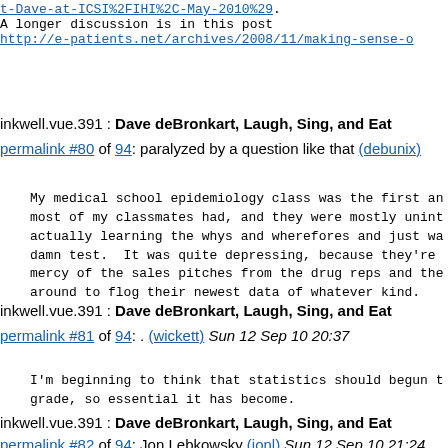t-Dave-at-ICSI%2FIHI%2C-May-2010%29. A longer discussion is in this post http://e-patients.net/archives/2008/11/making-sense-o
inkwell.vue.391 : Dave deBronkart, Laugh, Sing, and Eat
permalink #80 of 94: paralyzed by a question like that (debunix)
My medical school epidemiology class was the first an most of my classmates had, and they were mostly unint actually learning the whys and wherefores and just wa damn test.  It was quite depressing, because they're mercy of the sales pitches from the drug reps and the around to flog their newest data of whatever kind.
inkwell.vue.391 : Dave deBronkart, Laugh, Sing, and Eat
permalink #81 of 94: . (wickett) Sun 12 Sep 10 20:37
I'm beginning to think that statistics should begun t grade, so essential it has become.
inkwell.vue.391 : Dave deBronkart, Laugh, Sing, and Eat
permalink #82 of 94: Jon Lebkowsky (jonl) Sun 12 Sep 10 21:24